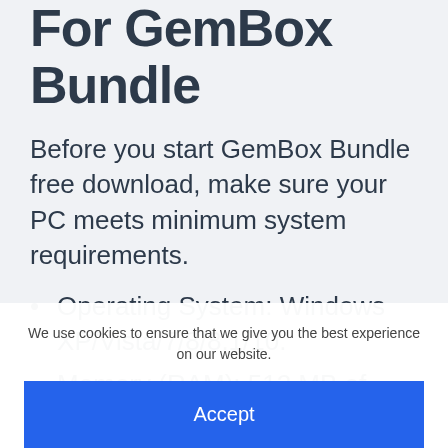For GemBox Bundle
Before you start GemBox Bundle free download, make sure your PC meets minimum system requirements.
Operating System: Windows XP/Vista/7/8/8.1/10.
Memory (RAM): 512 MB of RAM required.
Hard Disk Space: 30 MB of free space
We use cookies to ensure that we give you the best experience on our website.
Accept